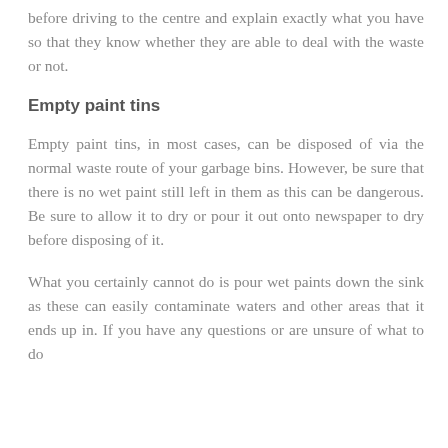with hazardous chemicals and materials. Be sure to check before driving to the centre and explain exactly what you have so that they know whether they are able to deal with the waste or not.
Empty paint tins
Empty paint tins, in most cases, can be disposed of via the normal waste route of your garbage bins. However, be sure that there is no wet paint still left in them as this can be dangerous. Be sure to allow it to dry or pour it out onto newspaper to dry before disposing of it.
What you certainly cannot do is pour wet paints down the sink as these can easily contaminate waters and other areas that it ends up in. If you have any questions or are unsure of what to do